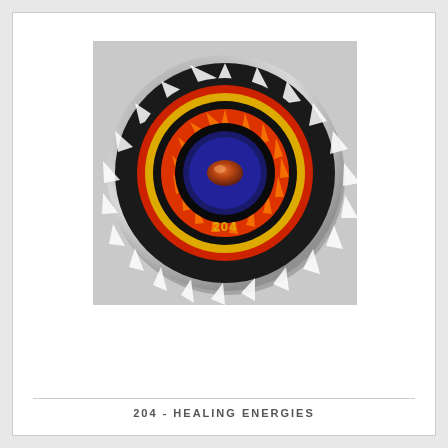[Figure (photo): A circular pin/button badge showing a colorful mandala-like pattern with concentric rings in black, red, orange, yellow, and white radiating outward from a center with blue and orange stone-like element. The number '204' is printed in gold/yellow text in the lower center of the badge. The badge has a metallic silver edge.]
204 - HEALING ENERGIES